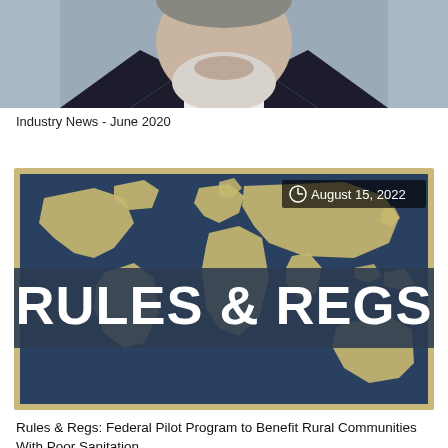[Figure (photo): Portrait photo of a man with grey beard wearing a dark suit jacket and white shirt, cropped to show face and upper chest against a light background]
Industry News - June 2020
[Figure (illustration): Rules & Regs banner image: dark teal/navy background with beige world map silhouette, large white bold text 'RULES & REGS' across the center, and a date badge 'August 15, 2022' in the top-right corner]
Rules & Regs: Federal Pilot Program to Benefit Rural Communities With Poor Sanitation